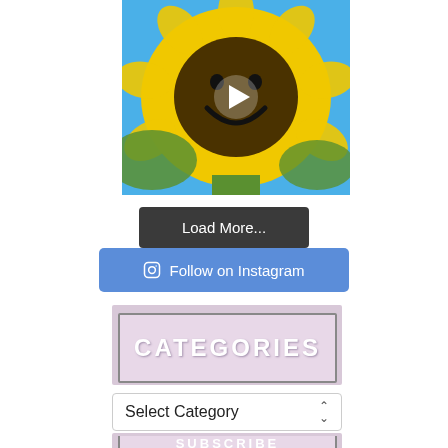[Figure (photo): A sunflower with a smiley face carved or drawn on its center, set against a blue sky background, with a white play button triangle overlaid in the center]
Load More...
Follow on Instagram
CATEGORIES
Select Category
SUBSCRIBE